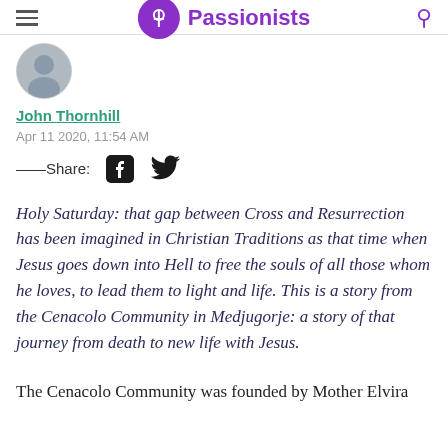Passionists
[Figure (photo): Circular avatar/profile photo of a person]
John Thornhill
Apr 11 2020, 11:54 AM
——Share:
Holy Saturday: that gap between Cross and Resurrection has been imagined in Christian Traditions as that time when Jesus goes down into Hell to free the souls of all those whom he loves, to lead them to light and life. This is a story from the Cenacolo Community in Medjugorje: a story of that journey from death to new life with Jesus.
The Cenacolo Community was founded by Mother Elvira